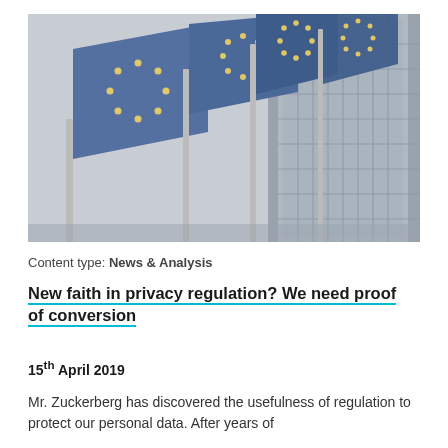[Figure (photo): Four European Union flags flying in front of a modern glass building, photographed from below against a grey sky.]
Content type: News & Analysis
New faith in privacy regulation? We need proof of conversion
15th April 2019
Mr. Zuckerberg has discovered the usefulness of regulation to protect our personal data. After years of